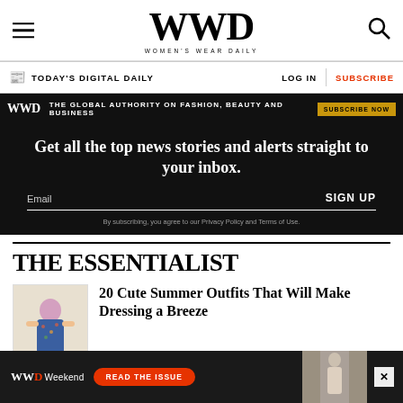WWD WOMEN'S WEAR DAILY
TODAY'S DIGITAL DAILY  LOG IN  SUBSCRIBE
[Figure (infographic): WWD ad banner: THE GLOBAL AUTHORITY ON FASHION, BEAUTY AND BUSINESS — SUBSCRIBE NOW]
Get all the top news stories and alerts straight to your inbox.
Email  SIGN UP  By subscribing, you agree to our Privacy Policy and Terms of Use.
THE ESSENTIALIST
[Figure (photo): Thumbnail photo of summer outfit with colorful floral dress and orange heels]
20 Cute Summer Outfits That Will Make Dressing a Breeze
[Figure (infographic): WWD Weekend ad banner: READ THE ISSUE with close button X]